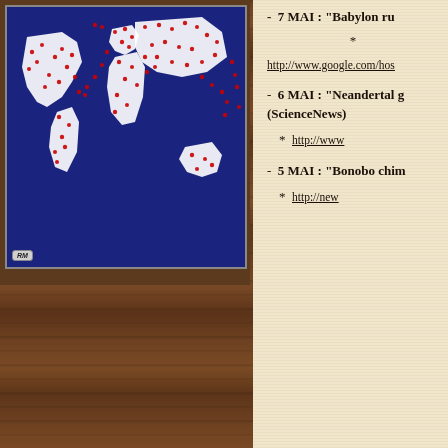[Figure (map): World map with dark blue ocean background showing red dots marking earthquake or event locations distributed across all continents. RM watermark badge visible in bottom-left corner.]
- 7 MAI : "Babylon ru...
* http://www.google.com/hos...
- 6 MAI : "Neandertal g... (ScienceNews)
* http://www...
- 5 MAI : "Bonobo chim...
* http://new...